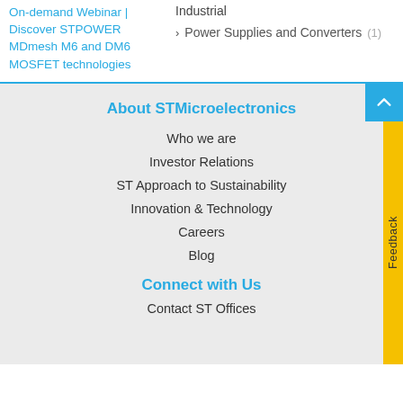On-demand Webinar | Discover STPOWER MDmesh M6 and DM6 MOSFET technologies
Industrial
Power Supplies and Converters (1)
About STMicroelectronics
Who we are
Investor Relations
ST Approach to Sustainability
Innovation & Technology
Careers
Blog
Connect with Us
Contact ST Offices